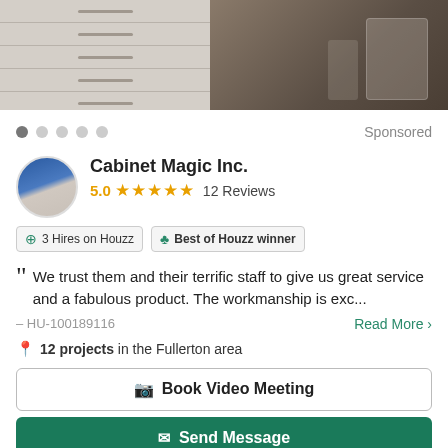[Figure (photo): Bathroom/kitchen renovation photo showing white cabinets with dark handles and a bathroom with shower area]
Sponsored
Cabinet Magic Inc.
5.0 ★★★★★ 12 Reviews
3 Hires on Houzz   Best of Houzz winner
We trust them and their terrific staff to give us great service and a fabulous product. The workmanship is exc...
— HU-100189116
Read More >
12 projects in the Fullerton area
Book Video Meeting
Send Message